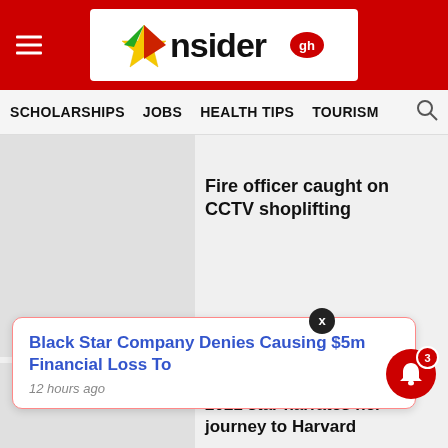[Figure (logo): InsiderGH logo with star graphic on white background, in red header bar with hamburger menu]
SCHOLARSHIPS   JOBS   HEALTH TIPS   TOURISM
Fire officer caught on CCTV shoplifting
Francisca Lamini: NSMQ 2021 star narrates her journey to Harvard
Black Star Company Denies Causing $5m Financial Loss To
12 hours ago